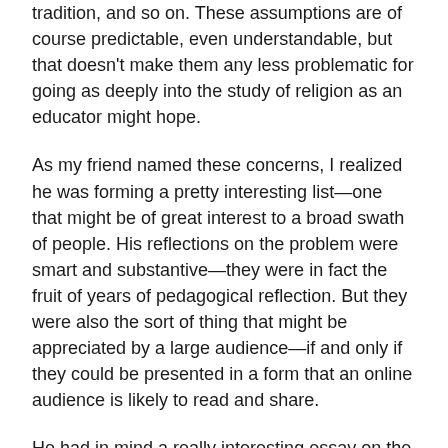tradition, and so on. These assumptions are of course predictable, even understandable, but that doesn't make them any less problematic for going as deeply into the study of religion as an educator might hope.
As my friend named these concerns, I realized he was forming a pretty interesting list—one that might be of great interest to a broad swath of people. His reflections on the problem were smart and substantive—they were in fact the fruit of years of pedagogical reflection. But they were also the sort of thing that might be appreciated by a large audience—if and only if they could be presented in a form that an online audience is likely to read and share.
He had in mind a really interesting essay on the matter. I asked him to write a listicle instead.